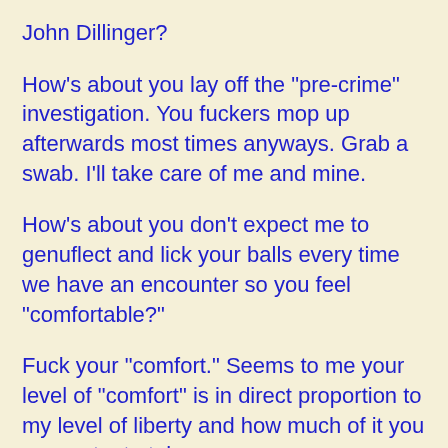John Dillinger?
How's about you lay off the "pre-crime" investigation. You fuckers mop up afterwards most times anyways. Grab a swab. I'll take care of me and mine.
How's about you don't expect me to genuflect and lick your balls every time we have an encounter so you feel "comfortable?"
Fuck your "comfort." Seems to me your level of "comfort" is in direct proportion to my level of liberty and how much of it you wanna try to take.
I give two shits about making your job "easier."
Nobody helps make my job "easier."
If you can't handle the tough job, it's time to look for